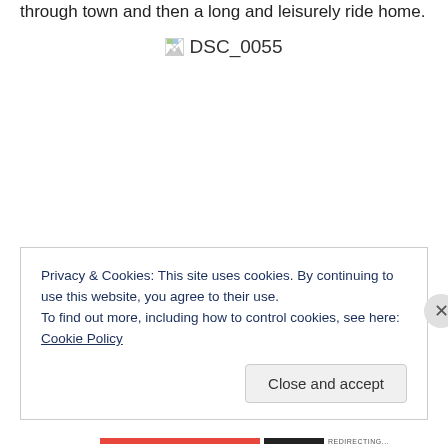through town and then a long and leisurely ride home.
[Figure (photo): Broken/unloaded image placeholder labeled DSC_0055]
Privacy & Cookies: This site uses cookies. By continuing to use this website, you agree to their use.
To find out more, including how to control cookies, see here: Cookie Policy
Close and accept